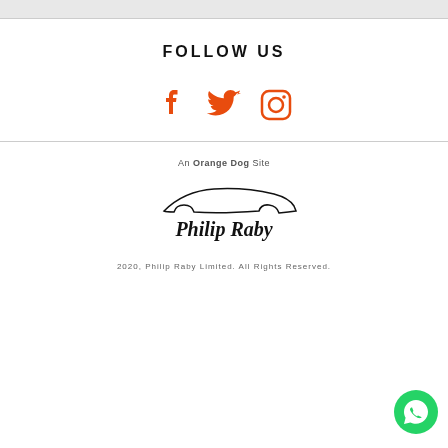[Figure (other): Top grey bar]
FOLLOW US
[Figure (infographic): Social media icons: Facebook, Twitter, Instagram in orange]
An Orange Dog Site
[Figure (logo): Philip Raby logo with car silhouette and script text]
2020, Philip Raby Limited. All Rights Reserved.
[Figure (other): WhatsApp floating button bottom right]